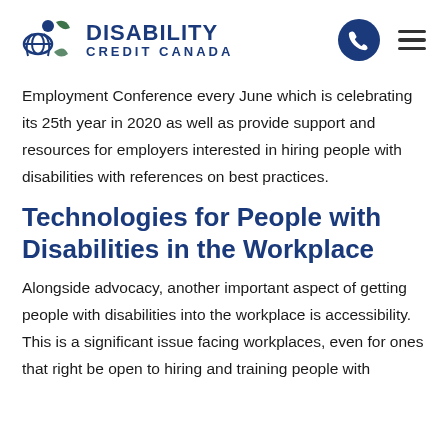DISABILITY CREDIT CANADA
Employment Conference every June which is celebrating its 25th year in 2020 as well as provide support and resources for employers interested in hiring people with disabilities with references on best practices.
Technologies for People with Disabilities in the Workplace
Alongside advocacy, another important aspect of getting people with disabilities into the workplace is accessibility. This is a significant issue facing workplaces, even for ones that right be open to hiring and training people with